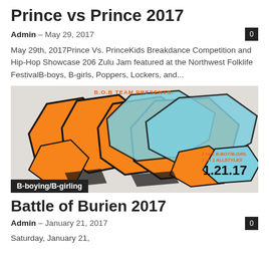Prince vs Prince 2017
Admin – May 29, 2017
May 29th, 2017Prince Vs. PrinceKids Breakdance Competition and Hip-Hop Showcase 206 Zulu Jam featured at the Northwest Folklife FestivalB-boys, B-girls, Poppers, Lockers, and...
[Figure (illustration): Graffiti-style event flyer for Battle of Burien 2017 showing orange and blue stylized lettering with text 'B.O.B TEAM PRESENTS', '2 vs 2 B-BOY/B-GIRL 1 on 1 ALLSTYLES', and date '1.21.17'. A 'B-boying/B-girling' category tag overlays the bottom-left.]
Battle of Burien 2017
Admin – January 21, 2017
Saturday, January 21,